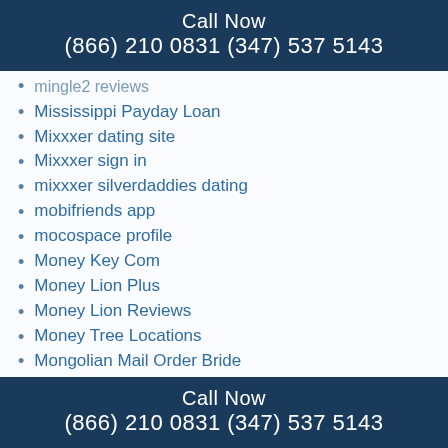Call Now
(866) 210 0831 (347) 537 5143
mingle2 reviews
Mississippi Payday Loan
Mixxxer dating site
Mixxxer sign in
mixxxer silverdaddies dating
mobifriends app
mocospace profile
Money Key Com
Money Lion Plus
Money Lion Reviews
Money Tree Locations
Mongolian Mail Order Bride
More Chilli Slot
Moroccan Bride
most beautiful asian women
Most Beautiful Latin Women
mousemingle search
Call Now
(866) 210 0831 (347) 537 5143